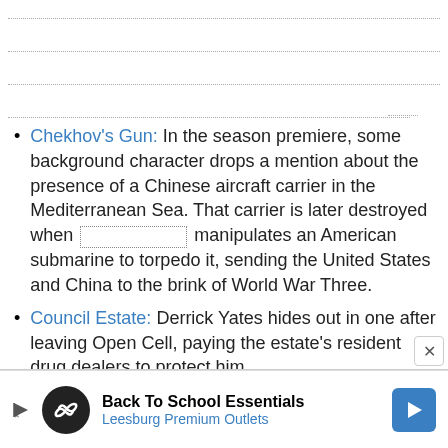Chekhov's Gun: In the season premiere, some background character drops a mention about the presence of a Chinese aircraft carrier in the Mediterranean Sea. That carrier is later destroyed when [redacted] manipulates an American submarine to torpedo it, sending the United States and China to the brink of World War Three.
Council Estate: Derrick Yates hides out in one after leaving Open Cell, paying the estate's resident drug dealers to protect him.
Darker and Edgier: than the original series which was already dark to begin with.
[Figure (infographic): Back To School Essentials advertisement banner for Leesburg Premium Outlets]